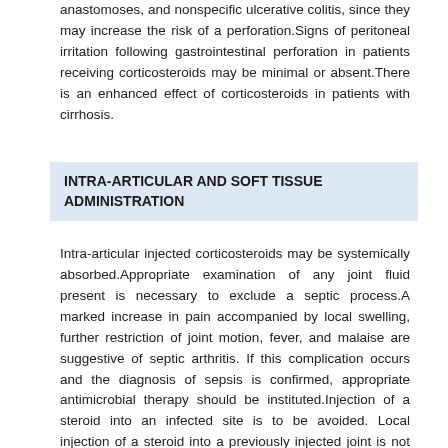anastomoses, and nonspecific ulcerative colitis, since they may increase the risk of a perforation.Signs of peritoneal irritation following gastrointestinal perforation in patients receiving corticosteroids may be minimal or absent.There is an enhanced effect of corticosteroids in patients with cirrhosis.
INTRA-ARTICULAR AND SOFT TISSUE ADMINISTRATION
Intra-articular injected corticosteroids may be systemically absorbed.Appropriate examination of any joint fluid present is necessary to exclude a septic process.A marked increase in pain accompanied by local swelling, further restriction of joint motion, fever, and malaise are suggestive of septic arthritis. If this complication occurs and the diagnosis of sepsis is confirmed, appropriate antimicrobial therapy should be instituted.Injection of a steroid into an infected site is to be avoided. Local injection of a steroid into a previously injected joint is not usually recommended.Corticosteroid injection into unstable